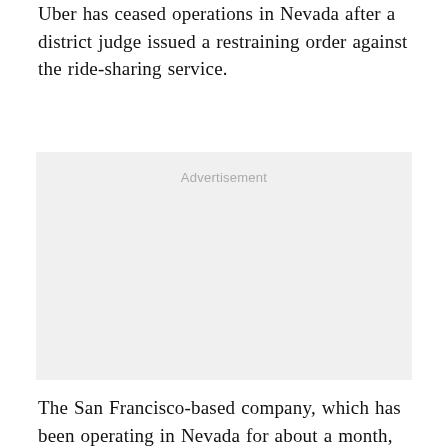Uber has ceased operations in Nevada after a district judge issued a restraining order against the ride-sharing service.
[Figure (other): Advertisement placeholder box with 'Advertisement' label text centered at top]
The San Francisco-based company, which has been operating in Nevada for about a month, said Wednesday that it was shutting down over "confusion"